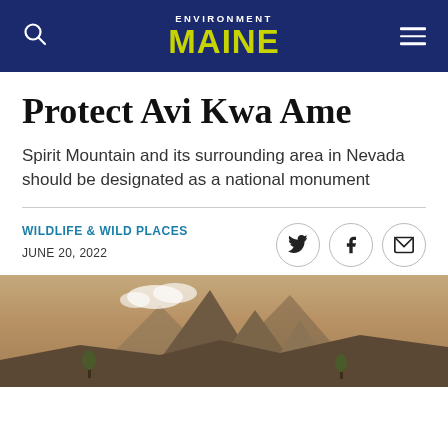ENVIRONMENT MAINE
Protect Avi Kwa Ame
Spirit Mountain and its surrounding area in Nevada should be designated as a national monument
WILDLIFE & WILD PLACES
JUNE 20, 2022
[Figure (photo): Mountain landscape with rocky peaks, desert scrub, and Joshua trees under a partly cloudy sky]